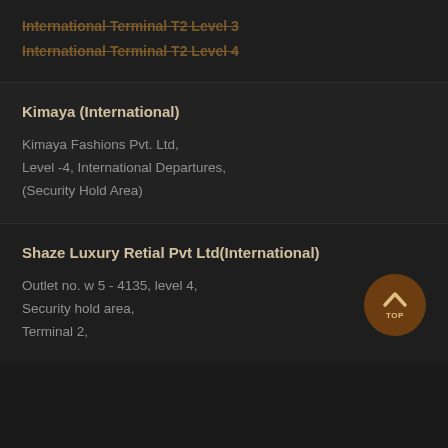International Terminal T2 Level 3
International Terminal T2 Level 4
Kimaya (International)
Kimaya Fashions Pvt. Ltd,
Level -4, International Departures,
(Security Hold Area)
Shaze Luxury Retial Pvt Ltd(International)
Outlet no. w 5 - 4135, level 4,
Security hold area,
Terminal 2,